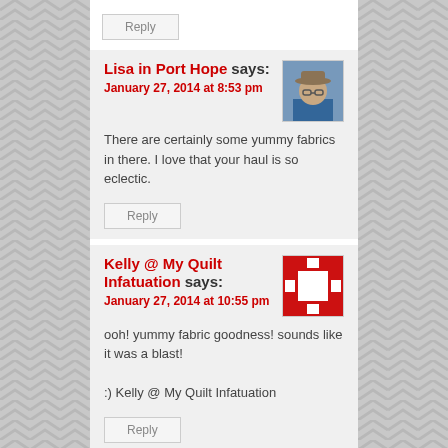Reply
Lisa in Port Hope says:
January 27, 2014 at 8:53 pm
There are certainly some yummy fabrics in there. I love that your haul is so eclectic.
Reply
Kelly @ My Quilt Infatuation says:
January 27, 2014 at 10:55 pm
ooh! yummy fabric goodness! sounds like it was a blast!

:) Kelly @ My Quilt Infatuation
Reply